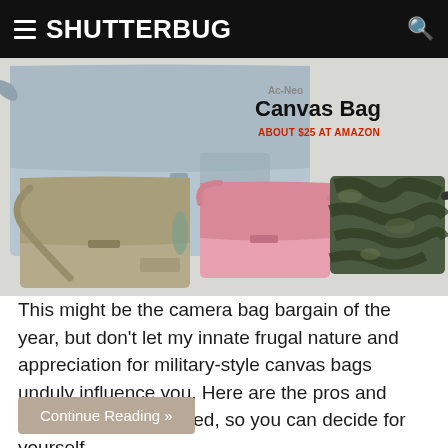SHUTTERBUG
[Figure (photo): Multiple canvas messenger bags in different colors: light blue/grey, tan/khaki, pink, and camouflage pattern. Product title reads 'Canvas Bag' with price 'ABOUT $25 AT AMAZON' in red.]
This might be the camera bag bargain of the year, but don't let my innate frugal nature and appreciation for military-style canvas bags unduly influence you. Here are the pros and cons, objectively stated, so you can decide for yourself.
Continue Reading »